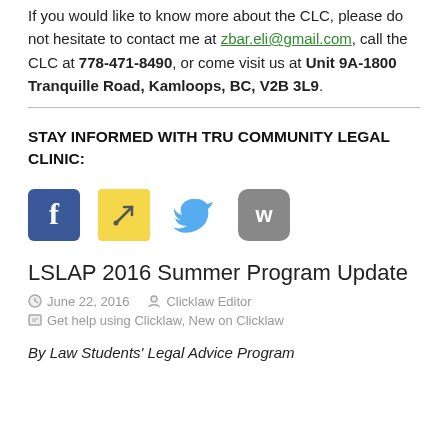If you would like to know more about the CLC, please do not hesitate to contact me at zbar.eli@gmail.com, call the CLC at 778-471-8490, or come visit us at Unit 9A-1800 Tranquille Road, Kamloops, BC, V2B 3L9.
STAY INFORMED WITH TRU COMMUNITY LEGAL CLINIC:
[Figure (illustration): Social media icons: Facebook, sticky note/link, Twitter bird, and a grey W icon]
LSLAP 2016 Summer Program Update
June 22, 2016   Clicklaw Editor
Get help using Clicklaw, New on Clicklaw
By Law Students' Legal Advice Program